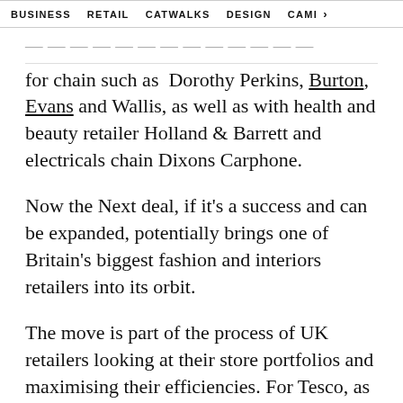BUSINESS   RETAIL   CATWALKS   DESIGN   CAMI  >
for chain such as Dorothy Perkins, Burton, Evans and Wallis, as well as with health and beauty retailer Holland & Barrett and electricals chain Dixons Carphone.
Now the Next deal, if it’s a success and can be expanded, potentially brings one of Britain’s biggest fashion and interiors retailers into its orbit.
The move is part of the process of UK retailers looking at their store portfolios and maximising their efficiencies. For Tesco, as mentioned, the appeal is clearly to make good use of spare space and generate rental revenue, as well as boosting its appeal to fashion shoppers. For Next,